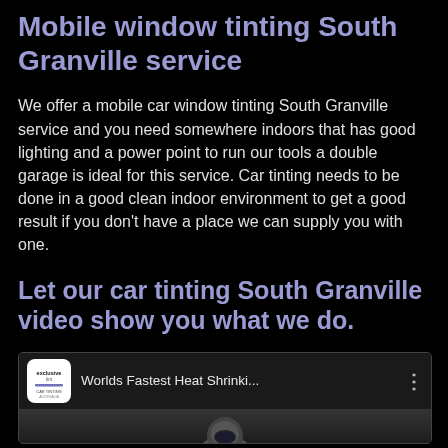Mobile window tinting South Granville service
We offer a mobile car window tinting South Granville service and you need somewhere indoors that has good lighting and a power point to run our tools a double garage is ideal for this service. Car tinting needs to be done in a good clean indoor environment to get a good result if you don't have a place we can supply you with one.
Let our car tinting South Granville video show you what we do.
[Figure (screenshot): YouTube video thumbnail showing 'Worlds Fastest Heat Shrinki...' with an exclusive tint logo and a person wearing a helmet in the preview.]